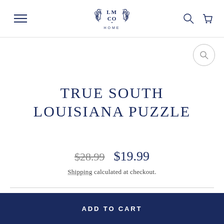LM CO HOME
TRUE SOUTH LOUISIANA PUZZLE
$28.99  $19.99
Shipping calculated at checkout.
ADD TO CART